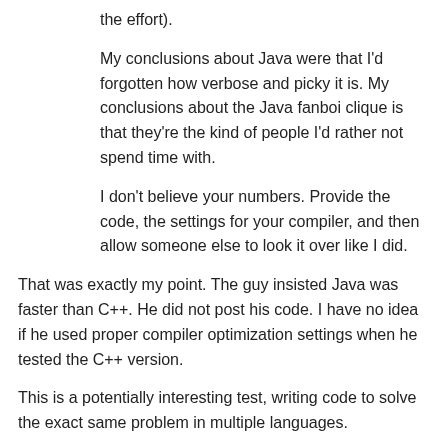the effort).
My conclusions about Java were that I'd forgotten how verbose and picky it is. My conclusions about the Java fanboi clique is that they're the kind of people I'd rather not spend time with.
I don't believe your numbers. Provide the code, the settings for your compiler, and then allow someone else to look it over like I did.
That was exactly my point. The guy insisted Java was faster than C++. He did not post his code. I have no idea if he used proper compiler optimization settings when he tested the C++ version.
This is a potentially interesting test, writing code to solve the exact same problem in multiple languages.
I did learn one thing from this exercise, which is that PHP is MUCH worse than I expected. I don't see why people ridicule me for not knowing that. The only way to be sure is to perform an experiment like I did. I thought that PHP compiled pretty efficiently to C.
That's another interesting point. The people who favor certain languages